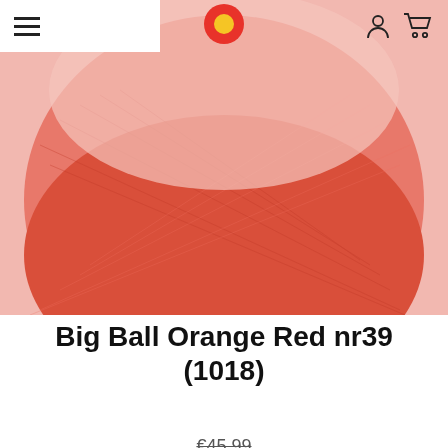[Figure (photo): A woven cotton ball lamp shade in orange-red color on a light pink/salmon background, photographed close-up. The top portion shows the pink background with the ball partly visible, the bottom shows the orange-red woven ball prominently.]
Big Ball Orange Red nr39 (1018)
€45,99
(€30,01 VAT excl)
€19,00
(€15,70 VAT excl)
Big Ball Orange Red nr39